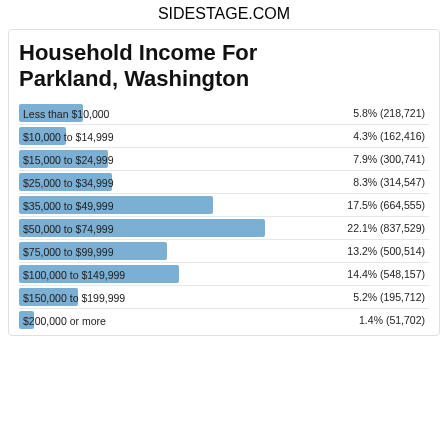SIDESTAGE.COM
Household Income For Parkland, Washington
[Figure (bar-chart): Household Income For Parkland, Washington]